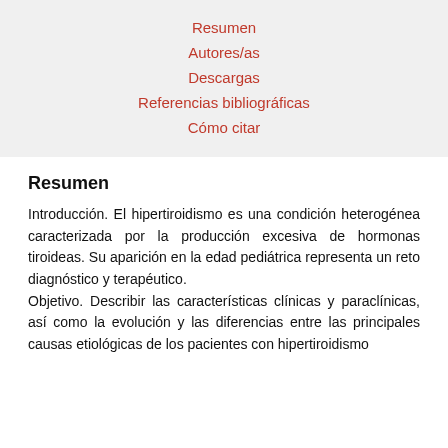Resumen
Autores/as
Descargas
Referencias bibliográficas
Cómo citar
Resumen
Introducción. El hipertiroidismo es una condición heterogénea caracterizada por la producción excesiva de hormonas tiroideas. Su aparición en la edad pediátrica representa un reto diagnóstico y terapéutico.
Objetivo. Describir las características clínicas y paraclínicas, así como la evolución y las diferencias entre las principales causas etiológicas de los pacientes con hipertiroidismo